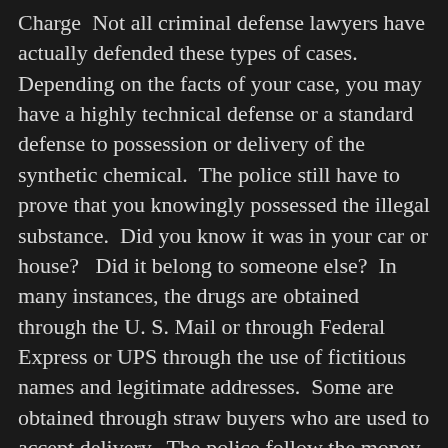Charge  Not all criminal defense lawyers have actually defended these types of cases.  Depending on the facts of your case, you may have a highly technical defense or a standard defense to possession or delivery of the synthetic chemical.  The police still have to prove that you knowingly possessed the illegal substance.  Did you know it was in your car or house?   Did it belong to someone else?  In many instances, the drugs are obtained through the U. S. Mail or through Federal Express or UPS through the use of fictitious names and legitimate addresses.  Some are obtained through straw buyers who are used to accept delivery.  The police follow the money to the source in good prosecutions.  Since the chemical composition is constantly being changed in Molly and other designer drugs and synthetic drugs you may have to mount a highly technical defense with testimony from first class chemists.  Our defense firm has